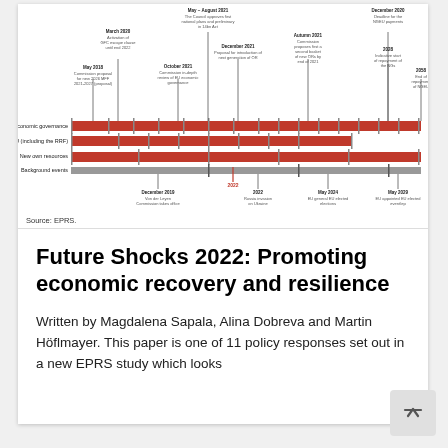[Figure (infographic): Timeline infographic showing key EU policy events related to Economic governance, Next Generation EU (including the RRF), New own resources, and Background events. Spans from approximately 2018 to 2058 with labeled milestones including March 2020, May 2018, May–August 2021, December 2021, October 2021, Autumn 2021, December 2020, 2028, 2058, December 2019, 2022, 2022 Russia invasion of Ukraine, May 2024, May 2029.]
Source: EPRS.
Future Shocks 2022: Promoting economic recovery and resilience
Written by Magdalena Sapala, Alina Dobreva and Martin Höflmayer. This paper is one of 11 policy responses set out in a new EPRS study which looks